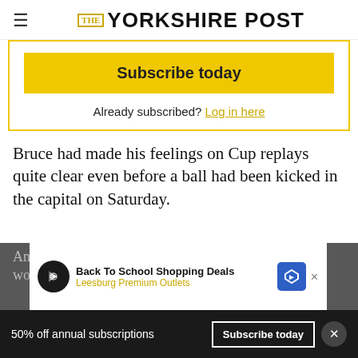THE YORKSHIRE POST
[Figure (other): Subscribe today button and Already subscribed? Log in here link inside a yellow-bordered box]
Bruce had made his feelings on Cup replays quite clear even before a ball had been kicked in the capital on Saturday.
[Figure (other): Advertisement banner: Back To School Shopping Deals, Leesburg Premium Outlets]
An ... worse for the promotion-hunting Tigers and
50% off annual subscriptions   Subscribe today   ×